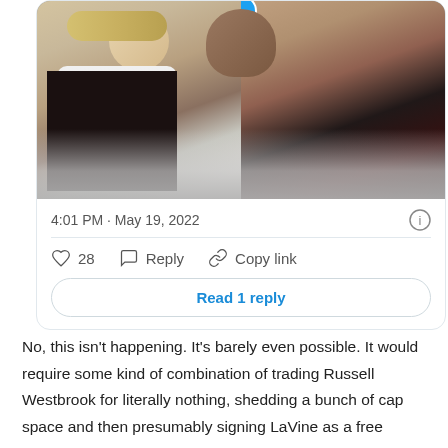[Figure (screenshot): Screenshot of a Twitter/X tweet showing a video thumbnail with two people on a video call, timestamp 4:01 PM May 19 2022, with 28 likes, Reply, Copy link actions, and a Read 1 reply button]
No, this isn't happening. It's barely even possible. It would require some kind of combination of trading Russell Westbrook for literally nothing, shedding a bunch of cap space and then presumably signing LaVine as a free agent. Or it could be some sort of sign-and-trade with LaVine and Westbrook, which is somehow less likely.